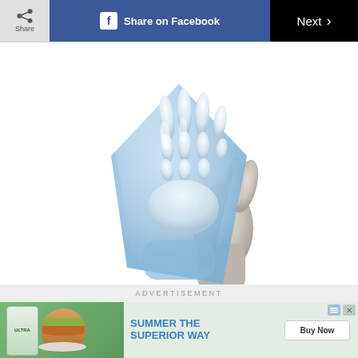Share  Share on Facebook  Next
32 / 35
[Figure (illustration): An X-ray style image of a hand wearing a blue medical/latex glove, showing bone structure through the glove material.]
ADVERTISEMENT
[Figure (illustration): Advertisement banner: SUMMER THE SUPERIOR WAY with Miller Lite Ultra and burger image, Buy Now button.]